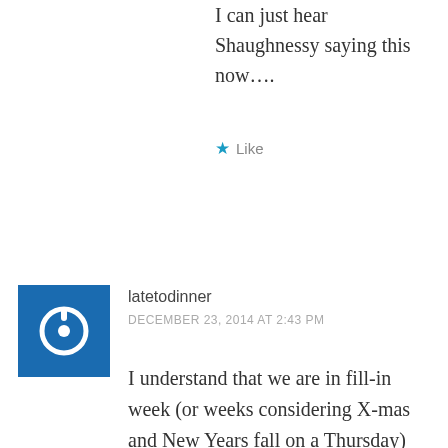I can just hear Shaughnessy saying this now….
Like
latetodinner
DECEMBER 23, 2014 AT 2:43 PM
I understand that we are in fill-in week (or weeks considering X-mas and New Years fall on a Thursday) but WEEI seriously needs to rethink Buckley and Sterns. On the day the Pats clinch the first round bye, during the week the Celtics traded Rajon rondo and during the month the Bruins apparently collapsed, what are